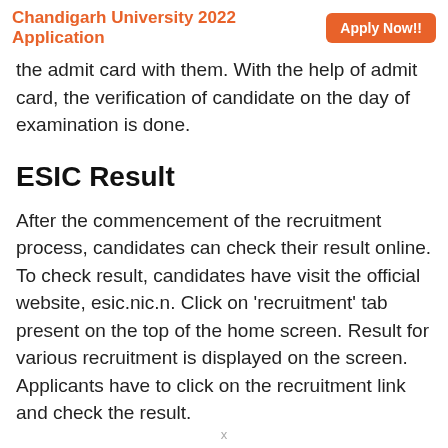Chandigarh University 2022 Application   Apply Now!!
the admit card with them. With the help of admit card, the verification of candidate on the day of examination is done.
ESIC Result
After the commencement of the recruitment process, candidates can check their result online. To check result, candidates have visit the official website, esic.nic.n. Click on ‘recruitment’ tab present on the top of the home screen. Result for various recruitment is displayed on the screen. Applicants have to click on the recruitment link and check the result.
x